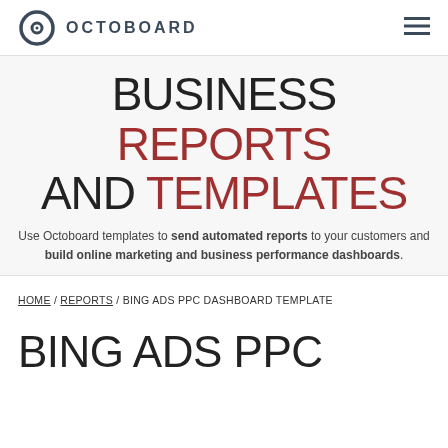OCTOBOARD
BUSINESS REPORTS AND TEMPLATES
Use Octoboard templates to send automated reports to your customers and build online marketing and business performance dashboards.
HOME / REPORTS / BING ADS PPC DASHBOARD TEMPLATE
BING ADS PPC